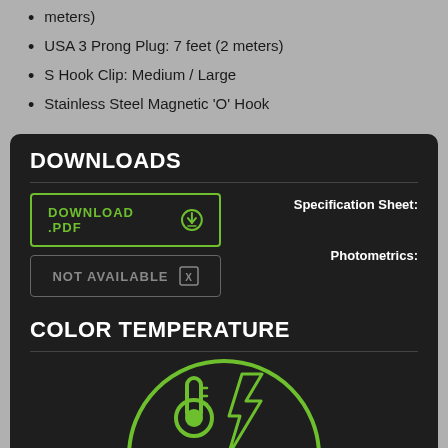meters)
USA 3 Prong Plug: 7 feet (2 meters)
S Hook Clip: Medium / Large
Stainless Steel Magnetic 'O' Hook
DOWNLOADS
Specification Sheet:
DOWNLOAD .PDF
Photometrics:
NOT AVAILABLE
COLOR TEMPERATURE
[Figure (illustration): Green circular icon with thermometer and lightning bolt symbols representing color temperature]